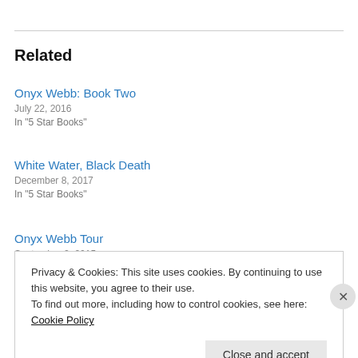Related
Onyx Webb: Book Two
July 22, 2016
In "5 Star Books"
White Water, Black Death
December 8, 2017
In "5 Star Books"
Onyx Webb Tour
September 2, 2015
Privacy & Cookies: This site uses cookies. By continuing to use this website, you agree to their use.
To find out more, including how to control cookies, see here: Cookie Policy